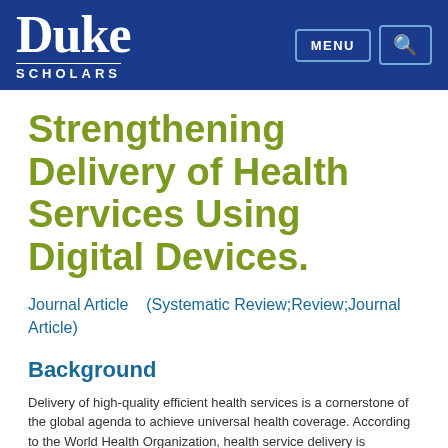Duke Scholars
Strengthening Delivery of Health Services Using Digital Devices.
Journal Article    (Systematic Review;Review;Journal Article)
Background
Delivery of high-quality efficient health services is a cornerstone of the global agenda to achieve universal health coverage. According to the World Health Organization, health service delivery is considered good